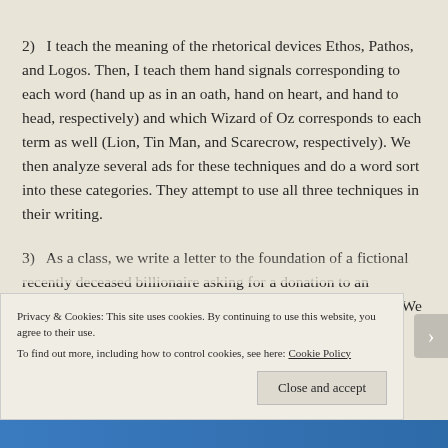2)   I teach the meaning of the rhetorical devices Ethos, Pathos, and Logos. Then, I teach them hand signals corresponding to each word (hand up as in an oath, hand on heart, and hand to head, respectively) and which Wizard of Oz corresponds to each term as well (Lion, Tin Man, and Scarecrow, respectively). We then analyze several ads for these techniques and do a word sort into these categories. They attempt to use all three techniques in their writing.
3)   As a class, we write a letter to the foundation of a fictional recently deceased billionaire asking for a donation to an organization the class has determined is worthy of the funds. We must use Ethos, Pathos, and Logos in our request.
Privacy & Cookies: This site uses cookies. By continuing to use this website, you agree to their use. To find out more, including how to control cookies, see here: Cookie Policy